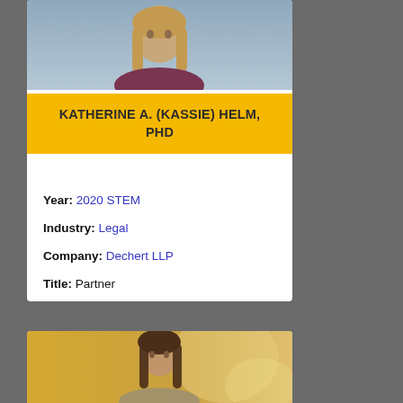[Figure (photo): Professional headshot of Katherine A. (Kassie) Helm, a woman with long blonde hair wearing a dark top, photographed against a light blue/grey background.]
KATHERINE A. (KASSIE) HELM, PHD
Year: 2020 STEM
Industry: Legal
Company: Dechert LLP
Title: Partner
[Figure (photo): Professional headshot of a woman with long dark brown hair, photographed against a warm golden/yellow background.]